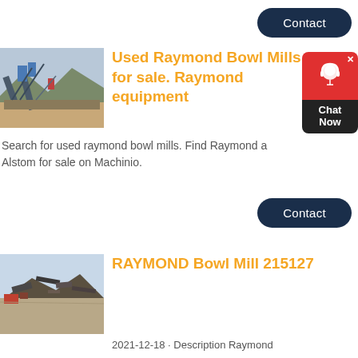[Figure (other): Contact button - dark navy rounded rectangle]
[Figure (photo): Industrial quarry/mining equipment with conveyors and mountains in background]
Used Raymond Bowl Mills for sale. Raymond equipment
[Figure (other): Chat Now widget - red top with headset icon and dark bottom with Chat Now text]
Search for used raymond bowl mills. Find Raymond and Alstom for sale on Machinio.
[Figure (other): Contact button - dark navy rounded rectangle]
[Figure (photo): Demolished or junked industrial equipment/mill in outdoor setting]
RAYMOND Bowl Mill 215127
2021-12-18 · Description Raymond